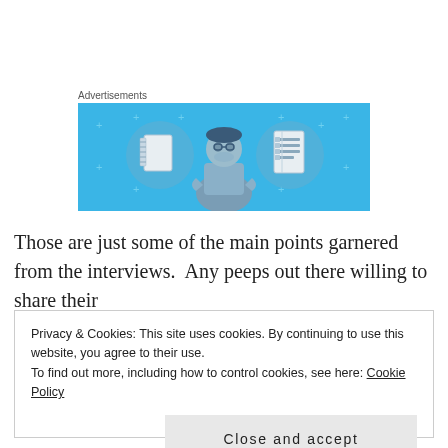Advertisements
[Figure (illustration): An advertisement banner with a light blue background showing a cartoon figure of a person holding a phone, flanked by two circular icons — one showing a notebook and one showing a document/list. Small plus/cross decorations scattered around.]
Those are just some of the main points garnered from the interviews.  Any peeps out there willing to share their
Privacy & Cookies: This site uses cookies. By continuing to use this website, you agree to their use.
To find out more, including how to control cookies, see here: Cookie Policy
Close and accept